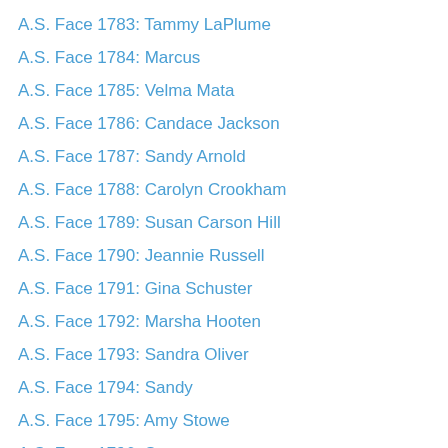A.S. Face 1783: Tammy LaPlume
A.S. Face 1784: Marcus
A.S. Face 1785: Velma Mata
A.S. Face 1786: Candace Jackson
A.S. Face 1787: Sandy Arnold
A.S. Face 1788: Carolyn Crookham
A.S. Face 1789: Susan Carson Hill
A.S. Face 1790: Jeannie Russell
A.S. Face 1791: Gina Schuster
A.S. Face 1792: Marsha Hooten
A.S. Face 1793: Sandra Oliver
A.S. Face 1794: Sandy
A.S. Face 1795: Amy Stowe
A.S. Face 1796: Suzanne
A.S. Face 1797: Meghan
A.S. Face 1798: Mehrwash Faruqi
A.S. Face 1799: Melissa
A.S. Face 1800: Kathryn
A.S. Face 1801: Anna Leigh
A.S. Face 1802: Kim Rogers